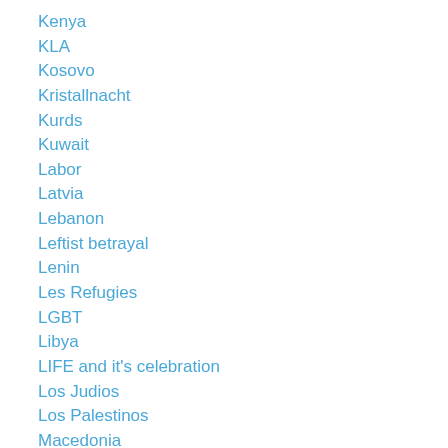Kenya
KLA
Kosovo
Kristallnacht
Kurds
Kuwait
Labor
Latvia
Lebanon
Leftist betrayal
Lenin
Les Refugies
LGBT
Libya
LIFE and it's celebration
Los Judios
Los Palestinos
Macedonia
Madeline Albright
MASS MURDER